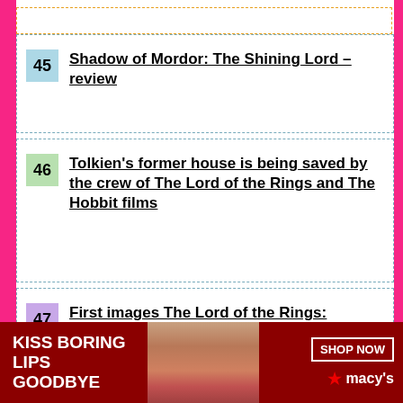45 Shadow of Mordor: The Shining Lord – review
46 Tolkien's former house is being saved by the crew of The Lord of the Rings and The Hobbit films
47 First images The Lord of the Rings: Gollum revealed
[Figure (other): Advertisement banner: 'Kiss Boring Lips Goodbye' Macy's ad with woman's face and red lipstick, Shop Now button]